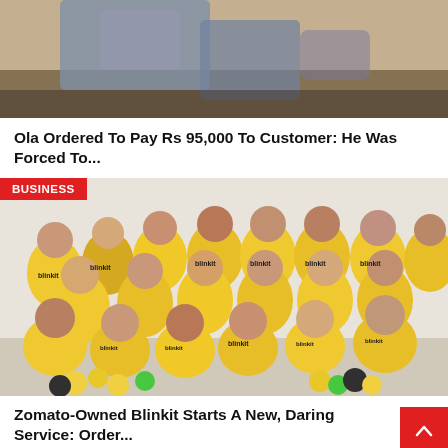[Figure (photo): Top portion of a news article image showing a partial view of a person, likely related to an Ola story]
Ola Ordered To Pay Rs 95,000 To Customer: He Was Forced To...
[Figure (photo): Group photo of Blinkit team members wearing yellow Blinkit branded t-shirts, with balloons in yellow, green, and black colors. A red BUSINESS label tag is overlaid on the top-left corner.]
Zomato-Owned Blinkit Starts A New, Daring Service: Order...